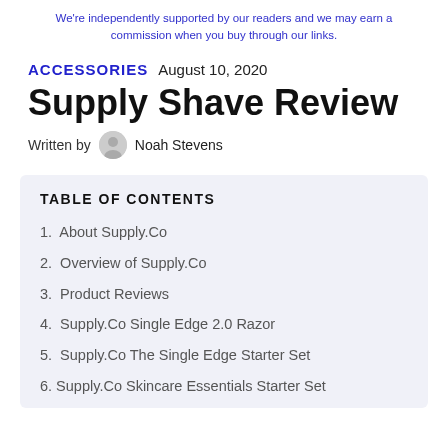We're independently supported by our readers and we may earn a commission when you buy through our links.
ACCESSORIES   August 10, 2020
Supply Shave Review
Written by Noah Stevens
TABLE OF CONTENTS
1. About Supply.Co
2. Overview of Supply.Co
3. Product Reviews
4. Supply.Co Single Edge 2.0 Razor
5. Supply.Co The Single Edge Starter Set
6. Supply.Co Skincare Essentials Starter Set